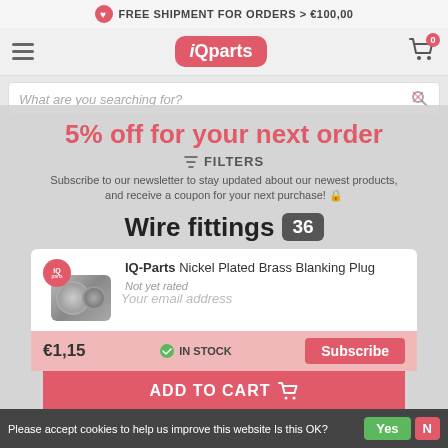FREE SHIPMENT FOR ORDERS > €100,00
[Figure (logo): iQparts logo - pink rounded rectangle with white bold italic text]
What are you searching for?
5% off for your next order
FILTERS
Subscribe to our newsletter to stay updated about our newest products, and receive a coupon for your next purchase!
Wire fittings 36
IQ-Parts Nickel Plated Brass Blanking Plug
Not yet rated
€1,15  IN STOCK
Subscribe
ADD TO CART
Your discount applies to orders above €50,00
Please accept cookies to help us improve this website Is this OK?  Yes